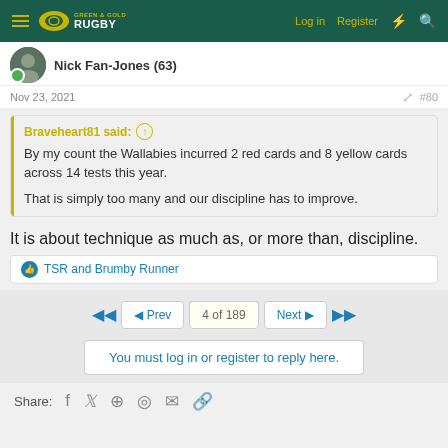Green & Gold Rugby — Log in  Register
Nick Fan-Jones (63)
Nov 23, 2021  #80
Braveheart81 said: ↑

By my count the Wallabies incurred 2 red cards and 8 yellow cards across 14 tests this year.

That is simply too many and our discipline has to improve.
It is about technique as much as, or more than, discipline.
👍 TSR and Brumby Runner
◄  ◄ Prev  4 of 189  Next ►  ►
You must log in or register to reply here.
Share: